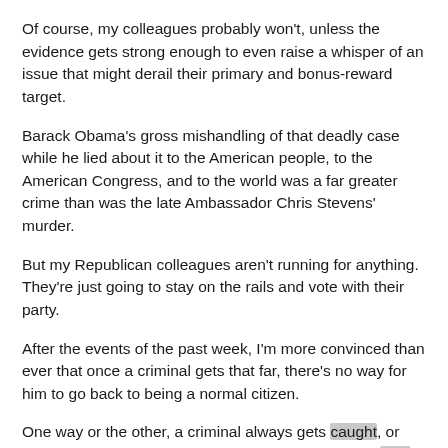Of course, my colleagues probably won't, unless the evidence gets strong enough to even raise a whisper of an issue that might derail their primary and bonus-reward target.
Barack Obama's gross mishandling of that deadly case while he lied about it to the American people, to the American Congress, and to the world was a far greater crime than was the late Ambassador Chris Stevens' murder.
But my Republican colleagues aren't running for anything. They're just going to stay on the rails and vote with their party.
After the events of the past week, I'm more convinced than ever that once a criminal gets that far, there's no way for him to go back to being a normal citizen.
One way or the other, a criminal always gets caught, or God always sends somebody to get a criminal — or God always just forgives the criminal.